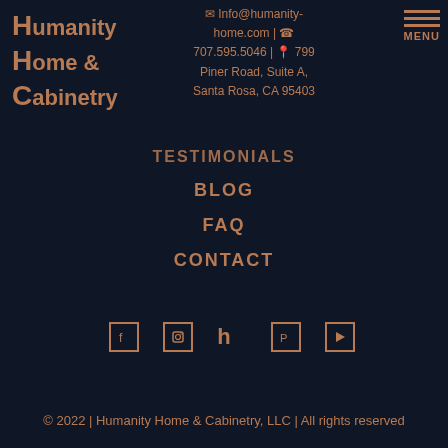Humanity Home & Cabinetry
✉ Info@humanity-home.com | ☎ 707.595.5046 | 📍 799 Piner Road, Suite A, Santa Rosa, CA 95403
TESTIMONIALS
BLOG
FAQ
CONTACT
[Figure (other): Social media icons row: Facebook, Instagram, Houzz, Pinterest, YouTube]
© 2022 | Humanity Home & Cabinetry, LLC | All rights reserved